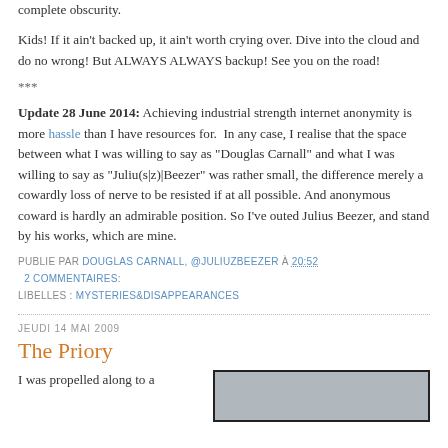complete obscurity.
Kids! If it ain't backed up, it ain't worth crying over. Dive into the cloud and do no wrong! But ALWAYS ALWAYS backup! See you on the road!
***
Update 28 June 2014: Achieving industrial strength internet anonymity is more hassle than I have resources for.  In any case, I realise that the space between what I was willing to say as "Douglas Carnall" and what I was willing to say as "Juliu(s|z)|Beezer" was rather small, the difference merely a cowardly loss of nerve to be resisted if at all possible. And anonymous coward is hardly an admirable position. So I've outed Julius Beezer, and stand by his works, which are mine.
PUBLIE PAR DOUGLAS CARNALL, @JULIUZBEEZER À 20:52
2 COMMENTAIRES:
LIBELLES : MYSTERIES&DISAPPEARANCES
JEUDI 14 MAI 2009
The Priory
I was propelled along to a